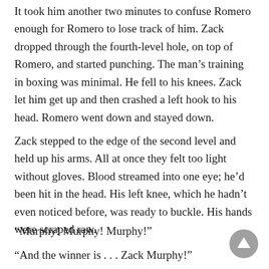It took him another two minutes to confuse Romero enough for Romero to lose track of him. Zack dropped through the fourth-level hole, on top of Romero, and started punching. The man’s training in boxing was minimal. He fell to his knees. Zack let him get up and then crashed a left hook to his head. Romero went down and stayed down.
Zack stepped to the edge of the second level and held up his arms. All at once they felt too light without gloves. Blood streamed into one eye; he’d been hit in the head. His left knee, which he hadn’t even noticed before, was ready to buckle. His hands were scraped raw.
“Murphy! Murphy! Murphy!”
“And the winner is . . . Zack Murphy!”